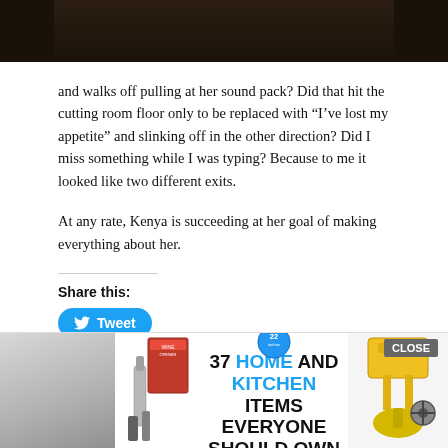[Figure (photo): Top portion of a dark-toned photo, cut off at top of page]
and walks off pulling at her sound pack? Did that hit the cutting room floor only to be replaced with “I’ve lost my appetite” and slinking off in the other direction? Did I miss something while I was typing? Because to me it looked like two different exits.
At any rate, Kenya is succeeding at her goal of making everything about her.
Share this:
[Figure (other): Tweet button in blue with bird icon]
Related
[Figure (infographic): Advertisement banner: 37 HOME AND KITCHEN ITEMS EVERYONE SHOULD OWN, with 22 Inches badge, kitchen appliance images on left and yellow tools on right]